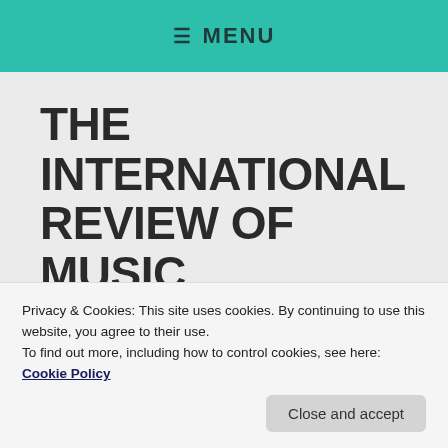≡ MENU
THE INTERNATIONAL REVIEW OF MUSIC
TAG: BILL WATROUS
Privacy & Cookies: This site uses cookies. By continuing to use this website, you agree to their use.
To find out more, including how to control cookies, see here: Cookie Policy
Close and accept
(Savoy)